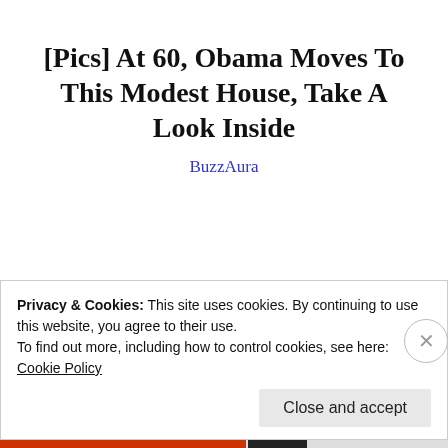[Pics] At 60, Obama Moves To This Modest House, Take A Look Inside
BuzzAura
Posted in Dental Care, Preventative care, Smith Valley Smiles
Tagged anxiety, Dental Care, Healthy Smiles, Thanksgiving
Privacy & Cookies: This site uses cookies. By continuing to use this website, you agree to their use.
To find out more, including how to control cookies, see here:
Cookie Policy
Close and accept